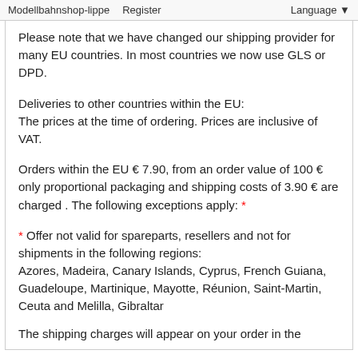Modellbahnshop-lippe   Register   Language
Please note that we have changed our shipping provider for many EU countries. In most countries we now use GLS or DPD.
Deliveries to other countries within the EU:
The prices at the time of ordering. Prices are inclusive of VAT.
Orders within the EU € 7.90, from an order value of 100 € only proportional packaging and shipping costs of 3.90 € are charged . The following exceptions apply: *
* Offer not valid for spareparts, resellers and not for shipments in the following regions:
Azores, Madeira, Canary Islands, Cyprus, French Guiana, Guadeloupe, Martinique, Mayotte, Réunion, Saint-Martin, Ceuta and Melilla, Gibraltar
The shipping charges will appear on your order in the